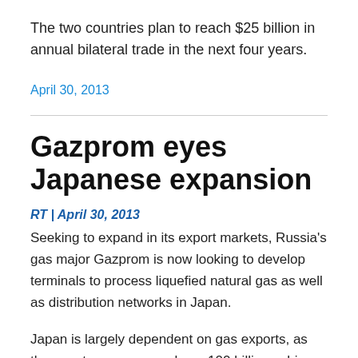The two countries plan to reach $25 billion in annual bilateral trade in the next four years.
April 30, 2013
Gazprom eyes Japanese expansion
RT | April 30, 2013
Seeking to expand in its export markets, Russia's gas major Gazprom is now looking to develop terminals to process liquefied natural gas as well as distribution networks in Japan.
Japan is largely dependent on gas exports, as the country consumes above 100 billion cubic metres of gas a year